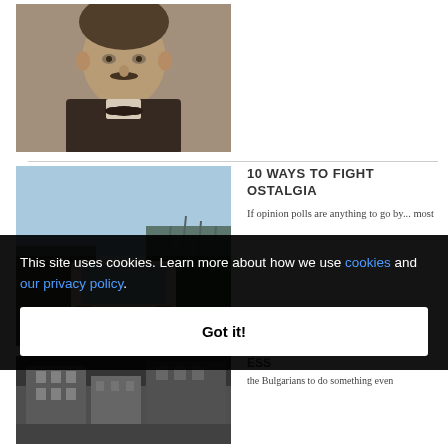[Figure (photo): Sepia-toned portrait photograph of a man with a mustache wearing a dark suit and bow tie, historical style, cropped to head and shoulders]
[Figure (photo): Color photograph showing a vehicle (car) seen from behind on a rural road with bare trees and sky visible]
10 WAYS TO FIGHT OSTALGIA
If opinion polls are anything to go by... most
[Figure (photo): Black and white historical photograph showing a street scene or building]
ESS
the Bulgarians to do something even
This site uses cookies. Learn more about how we use cookies and our privacy policy.